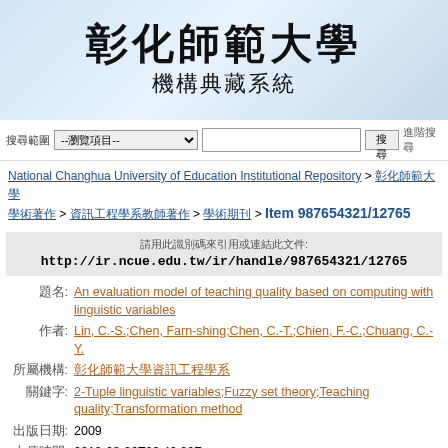[Figure (logo): National Changhua University of Education logo banner with Chinese characters 彰化師範大學 and 機構典藏系統 on a light blue gradient background]
搜尋範圍 --瀏覽項目-- 搜尋 進階搜尋
National Changhua University of Education Institutional Repository > 彰化師範大學學術著作 > 資訊工程學系教師著作 > 學術期刊 > Item 987654321/12765
請用此識別碼來引用或連結此文件: http://ir.ncue.edu.tw/ir/handle/987654321/12765
題名: An evaluation model of teaching quality based on computing with linguistic variables
作者: Lin, C.-S.;Chen, Farn-shing;Chen, C.-T.;Chien, F.-C.;Chuang, C.-Y.
所屬機構: 彰化師範大學資訊工程學系
關鍵字: 2-Tuple linguistic variables;Fuzzy set theory;Teaching quality;Transformation method
出版日期: 2009
上傳時間: 2012-08-06T03:49:00Z
出版者: Common Ground Publisher
摘要: In the 21st century, the performance evaluation of teaching has